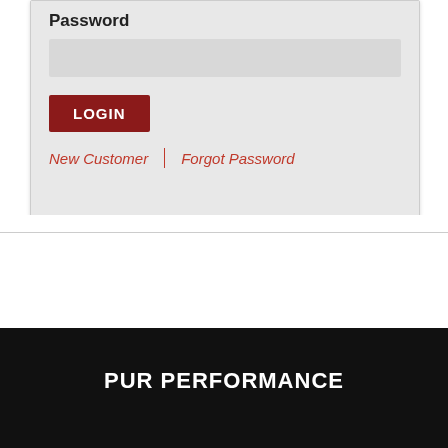[Figure (screenshot): Login form showing Password label, a password input field (grayed out), a red LOGIN button, and two red italic links: 'New Customer' and 'Forgot Password' separated by a vertical divider, all on a light gray background inside a white card.]
PUR PERFORMANCE